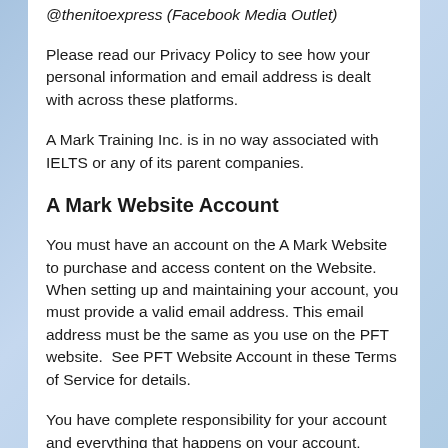@thenitoexpress (Facebook Media Outlet)
Please read our Privacy Policy to see how your personal information and email address is dealt with across these platforms.
A Mark Training Inc. is in no way associated with IELTS or any of its parent companies.
A Mark Website Account
You must have an account on the A Mark Website to purchase and access content on the Website.  When setting up and maintaining your account, you must provide a valid email address. This email address must be the same as you use on the PFT website.  See PFT Website Account in these Terms of Service for details.
You have complete responsibility for your account and everything that happens on your account, including for any harm or damage (to us or anyone else) caused by someone using your account without your permission.  You may not